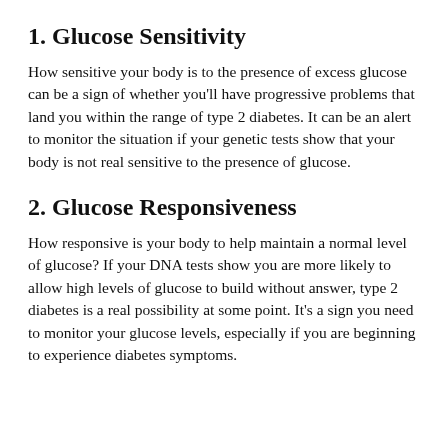1. Glucose Sensitivity
How sensitive your body is to the presence of excess glucose can be a sign of whether you'll have progressive problems that land you within the range of type 2 diabetes. It can be an alert to monitor the situation if your genetic tests show that your body is not real sensitive to the presence of glucose.
2. Glucose Responsiveness
How responsive is your body to help maintain a normal level of glucose? If your DNA tests show you are more likely to allow high levels of glucose to build without answer, type 2 diabetes is a real possibility at some point. It's a sign you need to monitor your glucose levels, especially if you are beginning to experience diabetes symptoms.